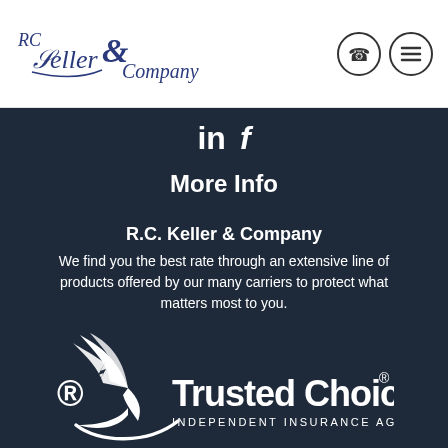[Figure (logo): RC Keller & Company logo in blue italic script with decorative ampersand]
[Figure (other): Phone icon and hamburger menu icon in circles in header]
[Figure (other): LinkedIn 'in' and Facebook 'f' social media icons in white on dark background]
More Info
R.C. Keller & Company
We find you the best rate through an extensive line of products offered by our many carriers to protect what matters most to you.
[Figure (logo): Trusted Choice Independent Insurance Agents logo — white eagle/bird graphic with curved line and 'Trusted Choice' text and 'INDEPENDENT INSURANCE AGENTS' subtitle]